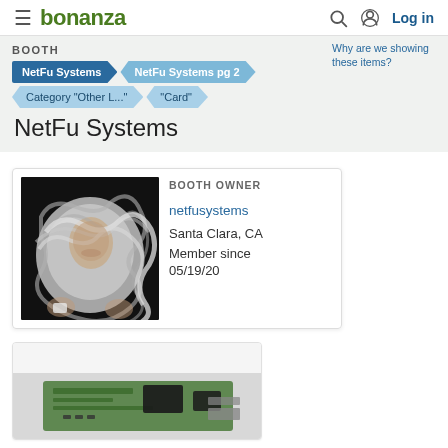bonanza | Log in
BOOTH
Why are we showing these items?
NetFu Systems | NetFu Systems pg 2 | Category "Other L..." | "Card"
NetFu Systems
BOOTH OWNER
netfusystems
Santa Clara, CA
Member since
05/19/20
[Figure (photo): Person with head and face wrapped in network cables, holding cables, dark background — seller profile photo]
[Figure (photo): Partial view of a green circuit board / network card product listing image]